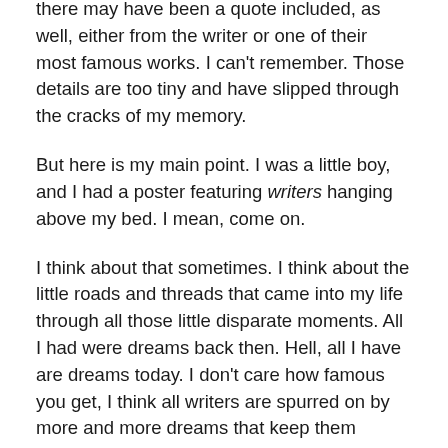there may have been a quote included, as well, either from the writer or one of their most famous works. I can't remember. Those details are too tiny and have slipped through the cracks of my memory.
But here is my main point. I was a little boy, and I had a poster featuring writers hanging above my bed. I mean, come on.
I think about that sometimes. I think about the little roads and threads that came into my life through all those little disparate moments. All I had were dreams back then. Hell, all I have are dreams today. I don't care how famous you get, I think all writers are spurred on by more and more dreams that keep them awake at night and keep them thinking, planning, working.
I can't help but think about stuff like that sometimes, given